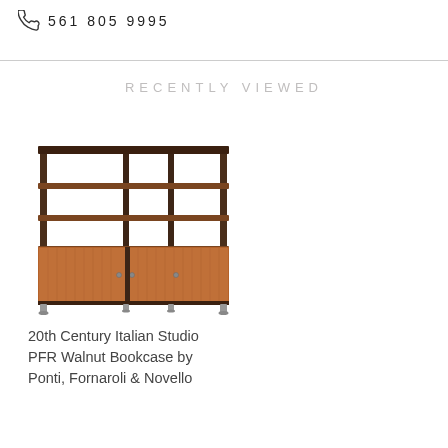561 805 9995
RECENTLY VIEWED
[Figure (photo): Mid-century modern walnut bookcase with open shelving on top and cabinet doors on bottom, on metal legs]
20th Century Italian Studio PFR Walnut Bookcase by Ponti, Fornaroli & Novello